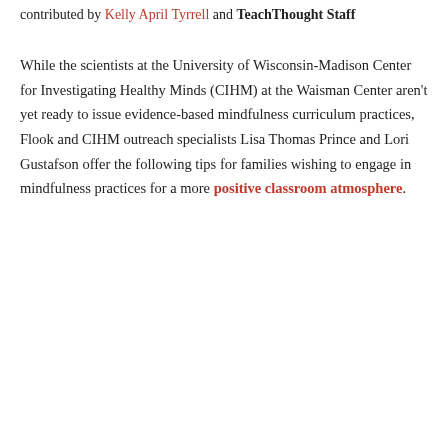contributed by Kelly April Tyrrell and TeachThought Staff
While the scientists at the University of Wisconsin-Madison Center for Investigating Healthy Minds (CIHM) at the Waisman Center aren't yet ready to issue evidence-based mindfulness curriculum practices, Flook and CIHM outreach specialists Lisa Thomas Prince and Lori Gustafson offer the following tips for families wishing to engage in mindfulness practices for a more positive classroom atmosphere.